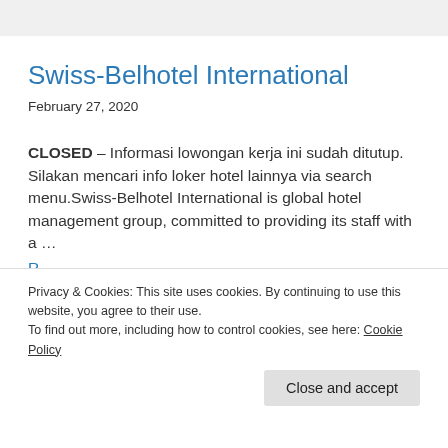Swiss-Belhotel International
February 27, 2020
CLOSED – Informasi lowongan kerja ini sudah ditutup. Silakan mencari info loker hotel lainnya via search menu.Swiss-Belhotel International is global hotel management group, committed to providing its staff with a ...
Privacy & Cookies: This site uses cookies. By continuing to use this website, you agree to their use.
To find out more, including how to control cookies, see here: Cookie Policy
Close and accept